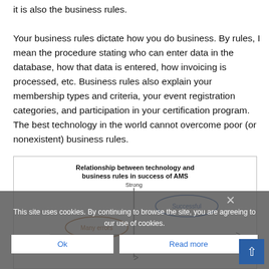it is also the business rules.
Your business rules dictate how you do business. By rules, I mean the procedure stating who can enter data in the database, how that data is entered, how invoicing is processed, etc. Business rules also explain your membership types and criteria, your event registration categories, and participation in your certification program. The best technology in the world cannot overcome poor (or nonexistent) business rules.
[Figure (other): Scatter plot showing relationship between technology and business rules in success of AMS. Axes: vertical axis labeled 'Strong' at top, horizontal axis labeled 'Unclear' on left and 'Clear' on right for Business Rules. Two ellipses: 'Many errors' in lower-left area, 'Successful' in upper-right area.]
This site uses cookies. By continuing to browse the site, you are agreeing to our use of cookies.